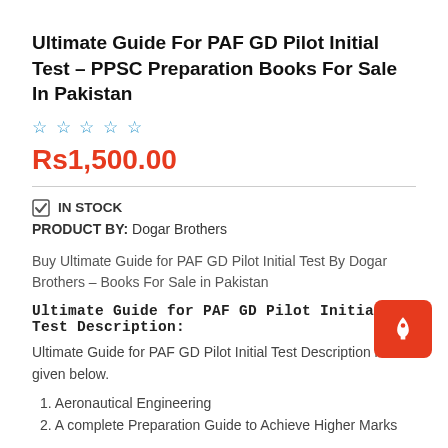Ultimate Guide For PAF GD Pilot Initial Test – PPSC Preparation Books For Sale In Pakistan
☆☆☆☆☆
Rs1,500.00
✔ IN STOCK
PRODUCT BY: Dogar Brothers
Buy Ultimate Guide for PAF GD Pilot Initial Test By Dogar Brothers – Books For Sale in Pakistan
Ultimate Guide for PAF GD Pilot Initial Test Description:
Ultimate Guide for PAF GD Pilot Initial Test Description is given below.
1. Aeronautical Engineering
2. A complete Preparation Guide to Achieve Higher Marks